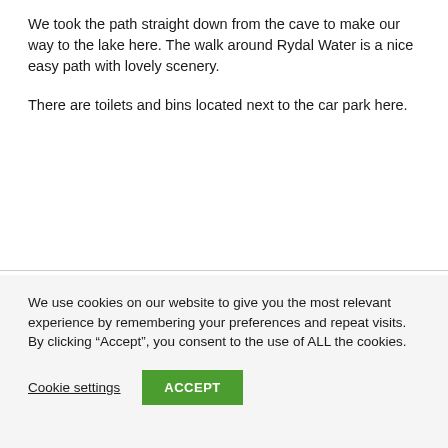We took the path straight down from the cave to make our way to the lake here. The walk around Rydal Water is a nice easy path with lovely scenery.
There are toilets and bins located next to the car park here.
We use cookies on our website to give you the most relevant experience by remembering your preferences and repeat visits. By clicking “Accept”, you consent to the use of ALL the cookies.
Cookie settings
ACCEPT